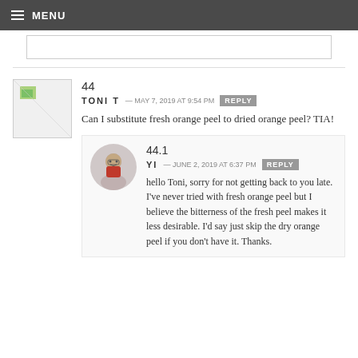MENU
44
TONI T — MAY 7, 2019 AT 9:54 PM REPLY
Can I substitute fresh orange peel to dried orange peel? TIA!
44.1
YI — JUNE 2, 2019 AT 6:37 PM REPLY
hello Toni, sorry for not getting back to you late. I've never tried with fresh orange peel but I believe the bitterness of the fresh peel makes it less desirable. I'd say just skip the dry orange peel if you don't have it. Thanks.